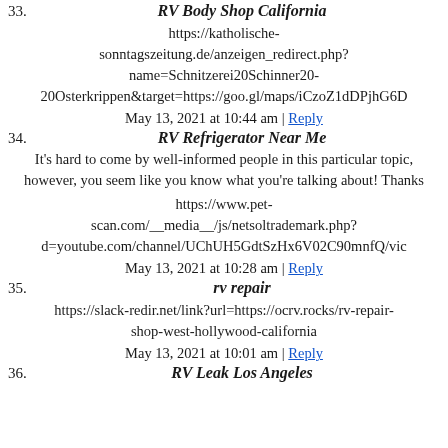33. RV Body Shop California
https://katholische-sonntagszeitung.de/anzeigen_redirect.php?name=Schnitzerei20Schinner20-20Osterkrippen&target=https://goo.gl/maps/iCzoZ1dDPjhG6D
May 13, 2021 at 10:44 am | Reply
34. RV Refrigerator Near Me
It’s hard to come by well-informed people in this particular topic, however, you seem like you know what you’re talking about! Thanks
https://www.pet-scan.com/__media__/js/netsoltrademark.php?d=youtube.com/channel/UChUH5GdtSzHx6V02C90mnfQ/vic
May 13, 2021 at 10:28 am | Reply
35. rv repair
https://slack-redir.net/link?url=https://ocrv.rocks/rv-repair-shop-west-hollywood-california
May 13, 2021 at 10:01 am | Reply
36. RV Leak Los Angeles